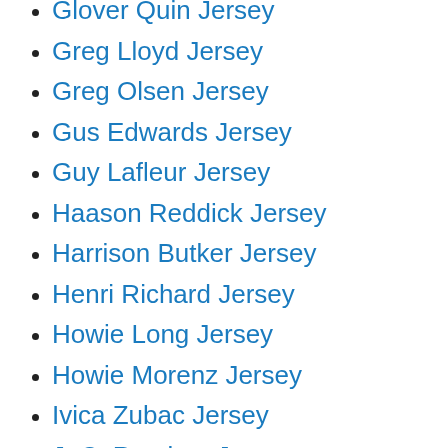Glover Quin Jersey
Greg Lloyd Jersey
Greg Olsen Jersey
Gus Edwards Jersey
Guy Lafleur Jersey
Haason Reddick Jersey
Harrison Butker Jersey
Henri Richard Jersey
Howie Long Jersey
Howie Morenz Jersey
Ivica Zubac Jersey
J. C. Ramirez Jersey
J.A. Happ Jersey
Jacksonville Jaguars
Jacksonville Jaguars Jersey
Jake Rudock Jersey